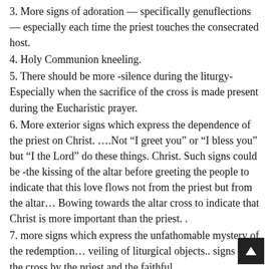3. More signs of adoration — specifically genuflections — especially each time the priest touches the consecrated host.
4. Holy Communion kneeling.
5. There should be more -silence during the liturgy- Especially when the sacrifice of the cross is made present during the Eucharistic prayer.
6. More exterior signs which express the dependence of the priest on Christ. ….Not “I greet you” or “I bless you” but “I the Lord” do these things. Christ. Such signs could be -the kissing of the altar before greeting the people to indicate that this love flows not from the priest but from the altar… Bowing towards the altar cross to indicate that Christ is more important than the priest. .
7. more signs which express the unfathomable mystery of the redemption… veiling of liturgical objects.. signs of the cross by the priest and the faithful.
8. Latin is a sacred language demanded by the Second Vatican Council in celebration of every holy Mass and in each place a part of the Eucharistic prayer should